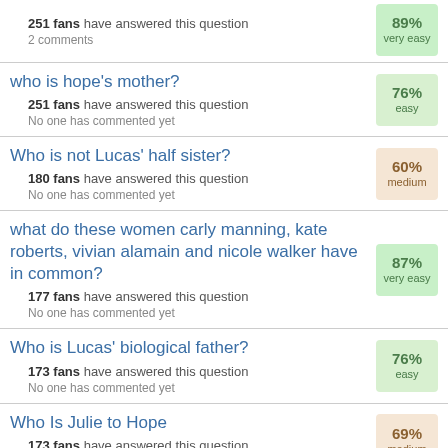251 fans have answered this question
2 comments
89% very easy
who is hope's mother?
251 fans have answered this question
No one has commented yet
76% easy
Who is not Lucas' half sister?
180 fans have answered this question
No one has commented yet
60% medium
what do these women carly manning, kate roberts, vivian alamain and nicole walker have in common?
177 fans have answered this question
No one has commented yet
87% very easy
Who is Lucas' biological father?
173 fans have answered this question
No one has commented yet
76% easy
Who Is Julie to Hope
173 fans have answered this question
No one has commented yet
69% medium
Who are John's parents?
173 fans have answered this question
68%